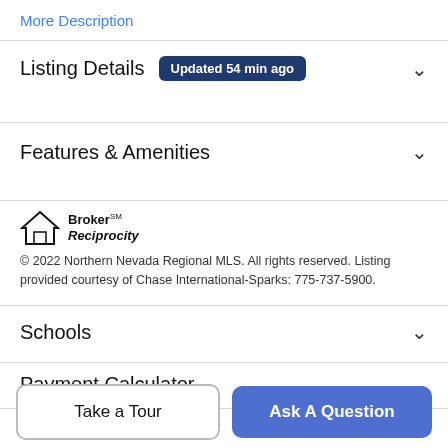More Description
Listing Details   Updated 54 min ago
Features & Amenities
[Figure (logo): Broker Reciprocity logo with house icon and text 'Broker Reciprocity']
© 2022 Northern Nevada Regional MLS. All rights reserved. Listing provided courtesy of Chase International-Sparks: 775-737-5900.
Schools
Payment Calculator
Take a Tour
Ask A Question